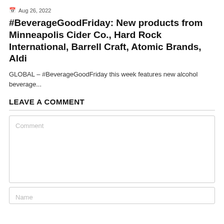Aug 26, 2022
#BeverageGoodFriday: New products from Minneapolis Cider Co., Hard Rock International, Barrell Craft, Atomic Brands, Aldi
GLOBAL – #BeverageGoodFriday this week features new alcohol beverage...
LEAVE A COMMENT
Comment
Name